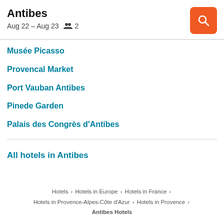Antibes
Aug 22 – Aug 23   2
Musée Picasso
Provencal Market
Port Vauban Antibes
Pinede Garden
Palais des Congrès d'Antibes
All hotels in Antibes
Hotels > Hotels in Europe > Hotels in France > Hotels in Provence-Alpes-Côte d'Azur > Hotels in Provence > Antibes Hotels